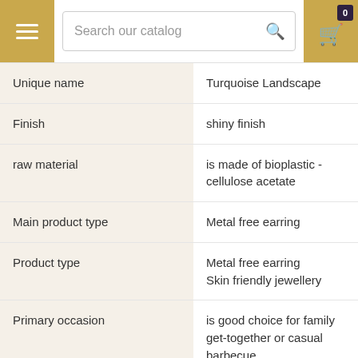[Figure (screenshot): Website header with hamburger menu button (gold), search bar with 'Search our catalog' placeholder, and gold cart button with badge showing 0]
| Unique name | Turquoise Landscape |
| Finish | shiny finish |
| raw material | is made of bioplastic - cellulose acetate |
| Main product type | Metal free earring |
| Product type | Metal free earring
Skin friendly jewellery |
| Primary occasion | is good choice for family get-together or casual barbecue |
| Occasion | is good choice for family get-together or casual barbecue |